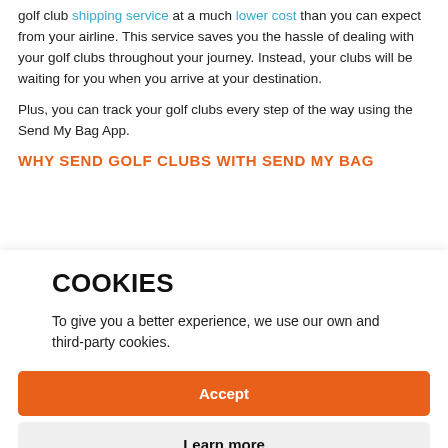golf club shipping service at a much lower cost than you can expect from your airline. This service saves you the hassle of dealing with your golf clubs throughout your journey. Instead, your clubs will be waiting for you when you arrive at your destination.
Plus, you can track your golf clubs every step of the way using the Send My Bag App.
WHY SEND GOLF CLUBS WITH SEND MY BAG
COOKIES
To give you a better experience, we use our own and third-party cookies.
Accept
Learn more